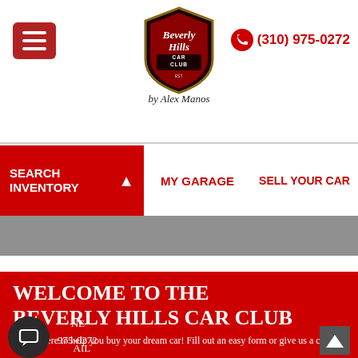Beverly Hills Car Club — by Alex Manos — (310) 975-0272
SEARCH INVENTORY | MY GARAGE | SELL YOUR CAR
WELCOME TO THE BEVERLY HILLS CAR CLUB
We are here to help you buy your dream car! Fill out an easy form or give us a call
(310) 975-0272
sales@beverlyhillscarclub.com